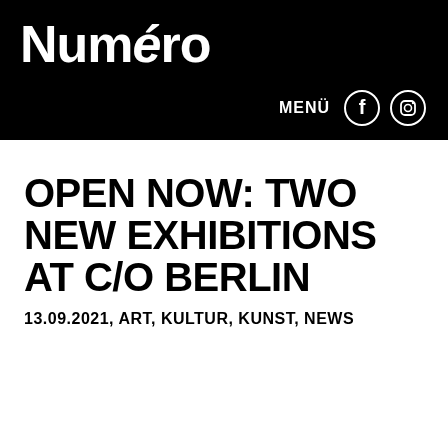Numéro
OPEN NOW: TWO NEW EXHIBITIONS AT C/O BERLIN
13.09.2021, ART, KULTUR, KUNST, NEWS